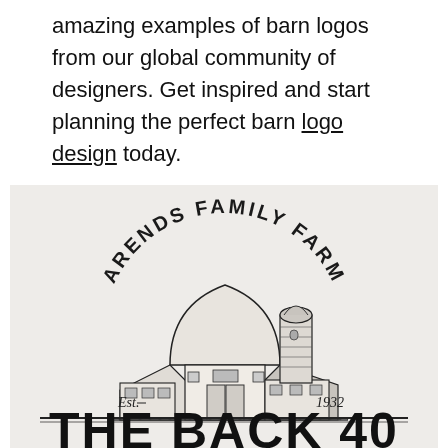amazing examples of barn logos from our global community of designers. Get inspired and start planning the perfect barn logo design today.
[Figure (logo): Vintage-style barn logo illustration for 'Arends Family Farm' featuring a hand-drawn barn with a silo, arched text reading 'ARENDS FAMILY FARM' above, 'Est.' on the left and '1932' on the right, and large bold text 'THE BACK 40' below.]